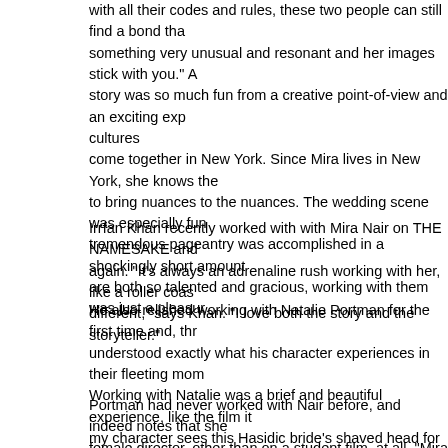with all their codes and rules, these two people can still find a bond that something very unusual and resonant and her images stick with you." A story was so much fun from a creative point-of-view and an exciting exp cultures come together in New York. Since Mira lives in New York, she knows the to bring nuances to the nuances. The wedding scene was especially fun tremendous pageantry was accomplished in a shockingly short amount are both so talented and gracious, working with them was just a pleasure
Irrfan Khan recently worked with with Mira Nair on THE NAMESAKE and again. "It's always an adrenaline rush working with her, like a roller coas different," says Khan. "I love both the story and the storyteller."
He also relished working with Natalie Portman for the first time and, through understood exactly what his character experiences in their fleeting mom Working with Natalie was a brief and beautiful experience, like the film it my character sees this Hasidic bride's shaved head for the first time, he He is taken most of all with her vulnerability."
Portman had never worked with Nair before, and indeed notes that she female director, other than on a student film, at all. "Mira was a true insp "She brought a light from the characters that I haven't seen in other directors"